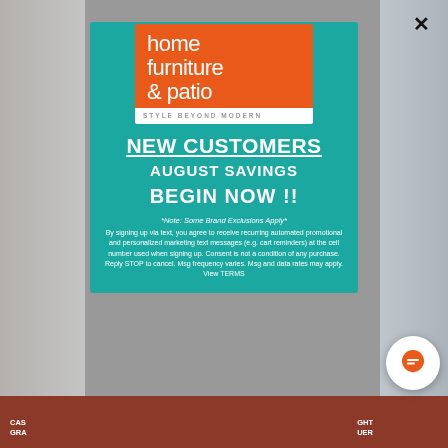[Figure (screenshot): Website popup modal for Home Furniture & Patio with teal background, orange logo, promotional text for New Customers August Savings Begin Now, legal text, and chat button]
home furniture & patio
STYLE BEYOND MODERN
NEW CUSTOMERS
AUGUST SAVINGS
BEGIN NOW !!
*Note: Some Brand Exclusions Apply*
By signing up via text, you agree to receive recurring automated promotional and personalized marketing text messages (e.g. cart reminders) at the cell number used when signing up. Consent is not a condition of any purchase. Reply STOP to cancel. Msg frequency varies. Msg and data rates may apply. View TERMS